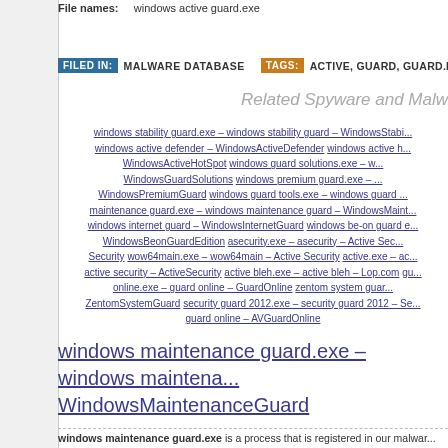File names:    windows active guard.exe
FILED IN: MALWARE DATABASE   TAGS: ACTIVE, GUARD, GUARD.EXE, ...
Related Spyware and Malw...
windows stability guard.exe – windows stability guard – WindowsStabi... windows active defender – WindowsActiveDefender windows active h... WindowsActiveHotSpot windows guard solutions.exe – w... WindowsGuardSolutions windows premium guard.exe – ... WindowsPremiumGuard windows guard tools.exe – windows guard ... maintenance guard.exe – windows maintenance guard – WindowsMaint... windows internet guard – WindowsInternetGuard windows be-on guard e... WindowsBeonGuardEdition asecurity.exe – asecurity – Active Sec... Security wow64main.exe – wow64main – Active Security active.exe – ac... active security – ActiveSecurity active bleh.exe – active bleh – Lop.com gu... online.exe – guard online – GuardOnline zentom system guar... ZentomSystemGuard security guard 2012.exe – security guard 2012 – Se... guard online – AVGuardOnline
windows maintenance guard.exe – windows maintena... WindowsMaintenanceGuard
windows maintenance guard.exe is a process that is registered in our malwar...